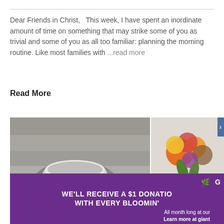Dear Friends in Christ,   This week, I have spent an inordinate amount of time on something that may strike some of you as trivial and some of you as all too familiar: planning the morning routine. Like most families with ...read more
Read More
[Figure (photo): Black and white photo of hands holding a ceramic bowl on a wooden surface, next to a color photo of colorful flowers in a bucket/vase with a blue price tag visible]
[Figure (infographic): Purple banner advertisement: logo with leaf icon and 'G', bold white text 'WE'LL RECEIVE A $1 DONATION WITH EVERY BLOOMIN' (text cut off), smaller text 'All month long at our', 'Learn more at giant' (cut off)]